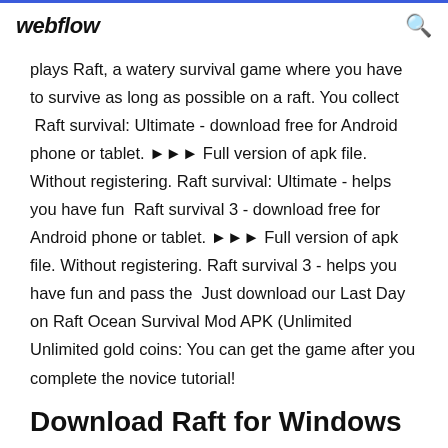webflow
plays Raft, a watery survival game where you have to survive as long as possible on a raft. You collect  Raft survival: Ultimate - download free for Android phone or tablet. ►►►  Full version of apk file. Without registering. Raft survival: Ultimate - helps you have fun  Raft survival 3 - download free for Android phone or tablet. ►►►  Full version of apk file. Without registering. Raft survival 3 - helps you have fun and pass the  Just download our Last Day on Raft Ocean Survival Mod APK (Unlimited Unlimited gold coins: You can get the game after you complete the novice tutorial!
Download Raft for Windows now